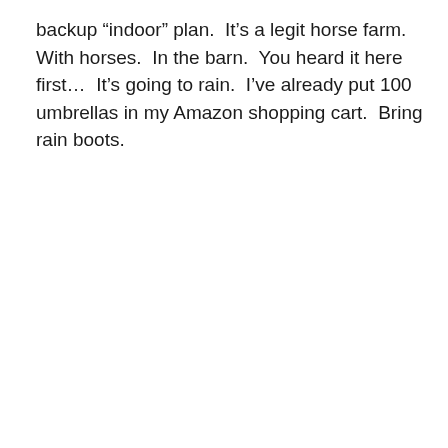backup “indoor” plan.  It’s a legit horse farm.  With horses.  In the barn.  You heard it here first…  It’s going to rain.  I’ve already put 100 umbrellas in my Amazon shopping cart.  Bring rain boots.